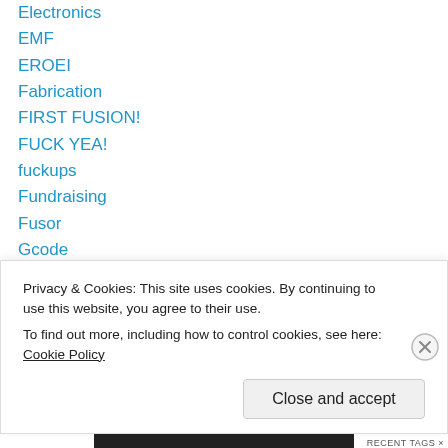Electronics
EMF
EROEI
Fabrication
FIRST FUSION!
FUCK YEA!
fuckups
Fundraising
Fusor
Gcode
geometry
GUCCI
Hacker
Privacy & Cookies: This site uses cookies. By continuing to use this website, you agree to their use. To find out more, including how to control cookies, see here: Cookie Policy
Close and accept